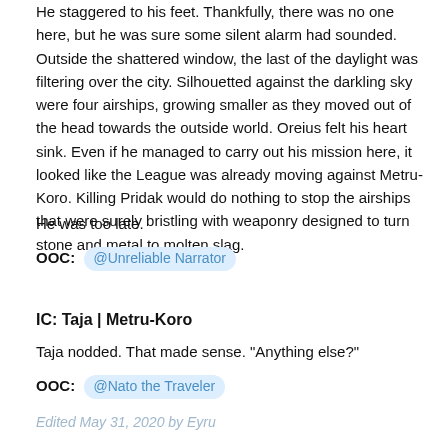He staggered to his feet. Thankfully, there was no one here, but he was sure some silent alarm had sounded. Outside the shattered window, the last of the daylight was filtering over the city. Silhouetted against the darkling sky were four airships, growing smaller as they moved out of the head towards the outside world. Oreius felt his heart sink. Even if he managed to carry out his mission here, it looked like the League was already moving against Metru-Koro. Killing Pridak would do nothing to stop the airships that were surely bristling with weaponry designed to turn stone and metal to molten slag.
He was too late.
OOC: @Unreliable Narrator
IC: Taja | Metru-Koro
Taja nodded. That made sense. "Anything else?"
OOC: @Nato the Traveler
Edited May 31, 2020 by Eyru